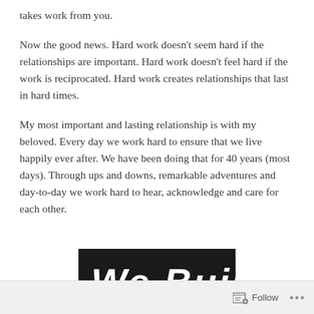takes work from you.
Now the good news. Hard work doesn't seem hard if the relationships are important. Hard work doesn't feel hard if the work is reciprocated. Hard work creates relationships that last in hard times.
My most important and lasting relationship is with my beloved. Every day we work hard to ensure that we live happily ever after. We have been doing that for 40 years (most days). Through ups and downs, remarkable adventures and day-to-day we work hard to hear, acknowledge and care for each other.
[Figure (photo): Chalkboard with handwritten text reading 'We Build']
Follow ...